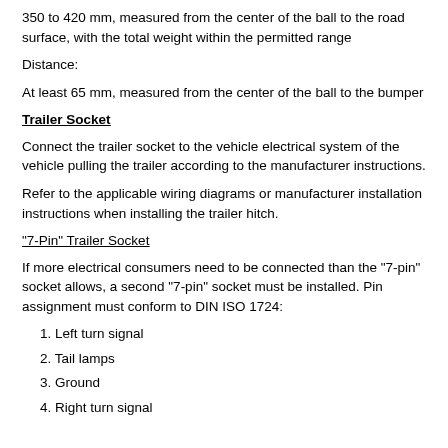350 to 420 mm, measured from the center of the ball to the road surface, with the total weight within the permitted range
Distance:
At least 65 mm, measured from the center of the ball to the bumper
Trailer Socket
Connect the trailer socket to the vehicle electrical system of the vehicle pulling the trailer according to the manufacturer instructions.
Refer to the applicable wiring diagrams or manufacturer installation instructions when installing the trailer hitch.
"7-Pin" Trailer Socket
If more electrical consumers need to be connected than the "7-pin" socket allows, a second "7-pin" socket must be installed. Pin assignment must conform to DIN ISO 1724:
1. Left turn signal
2. Tail lamps
3. Ground
4. Right turn signal